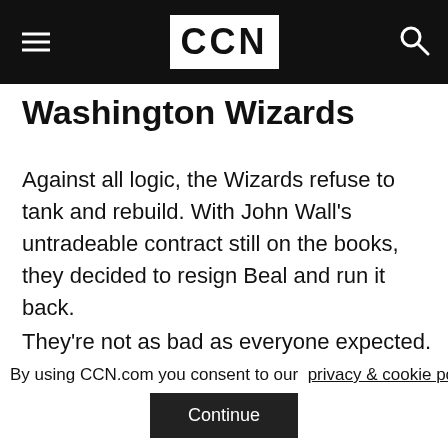CCN
Washington Wizards
Against all logic, the Wizards refuse to tank and rebuild. With John Wall's untradeable contract still on the books, they decided to resign Beal and run it back.
They're not as bad as everyone expected. Of course, they're not good, either. But they're only four games out of a playoff spot. Trading for Love could put them in the playoff picture this year and
By using CCN.com you consent to our  privacy & cookie policy.
Continue